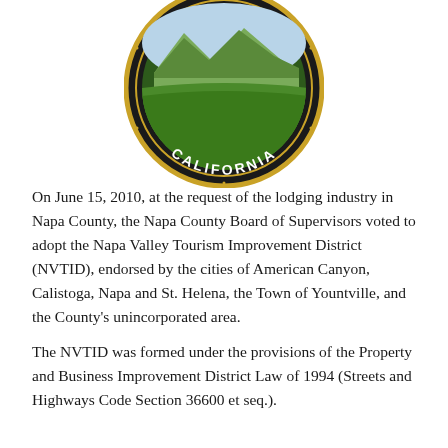[Figure (logo): Circular seal of California featuring a vineyard landscape with grapevines and mountains, black background with gold ring border, text reading CALIFORNIA along the bottom arc]
On June 15, 2010, at the request of the lodging industry in Napa County, the Napa County Board of Supervisors voted to adopt the Napa Valley Tourism Improvement District (NVTID), endorsed by the cities of American Canyon, Calistoga, Napa and St. Helena, the Town of Yountville, and the County's unincorporated area.
The NVTID was formed under the provisions of the Property and Business Improvement District Law of 1994 (Streets and Highways Code Section 36600 et seq.).